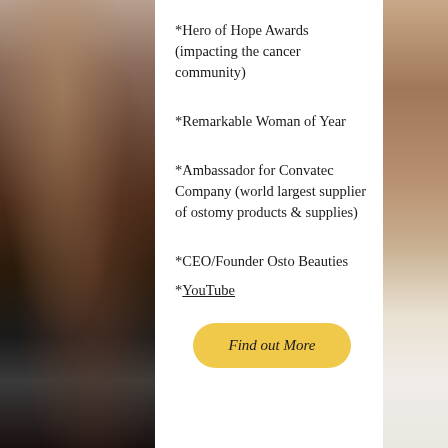*Hero of Hope Awards (impacting the cancer community)
*Remarkable Woman of Year
*Ambassador for Convatec Company (world largest supplier of ostomy products & supplies)
*CEO/Founder Osto Beauties
*YouTube
Find out More